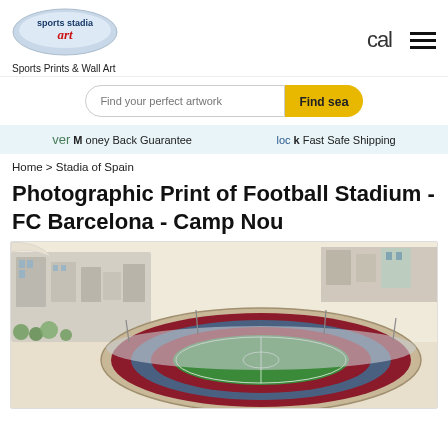[Figure (logo): Sports Stadia Art logo — oval shape with 'sports stadia art' text, red cursive 'art']
Sports Prints & Wall Art
cal
[Figure (other): Hamburger menu icon — three horizontal black lines]
[Figure (other): Search bar with placeholder 'Find your perfect artwork' and yellow 'Find sea' button]
Money Back Guarantee
Fast Safe Shipping
Home > Stadia of Spain
Photographic Print of Football Stadium - FC Barcelona - Camp Nou
[Figure (illustration): Aerial illustrated view of Camp Nou stadium, FC Barcelona — large oval football stadium with maroon and blue seating tiers, surrounded by city buildings and roads, illustrated in watercolor/drawing style]